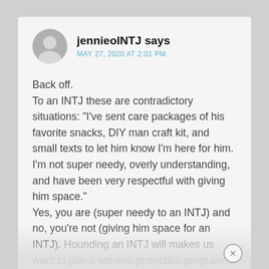jennieolNTJ says
MAY 27, 2020 AT 2:01 PM
Back off.
To an INTJ these are contradictory situations: "I've sent care packages of his favorite snacks, DIY man craft kit, and small texts to let him know I'm here for him. I'm not super needy, overly understanding, and have been very respectful with giving him space."
Yes, you are (super needy to an INTJ) and no, you're not (giving him space for an INTJ). Hounding an INTJ will makes us want to join a witness protection program and given our